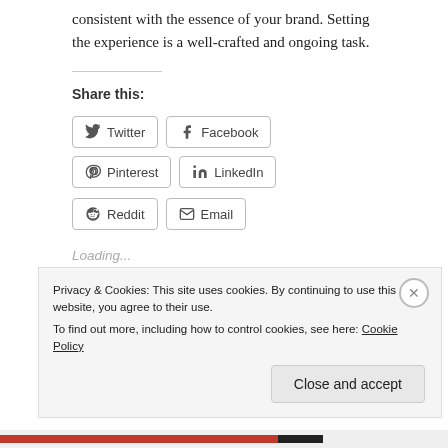consistent with the essence of your brand. Setting the experience is a well-crafted and ongoing task.
Share this:
Twitter
Facebook
Pinterest
LinkedIn
Reddit
Email
Loading...
Related
Privacy & Cookies: This site uses cookies. By continuing to use this website, you agree to their use.
To find out more, including how to control cookies, see here: Cookie Policy
Close and accept